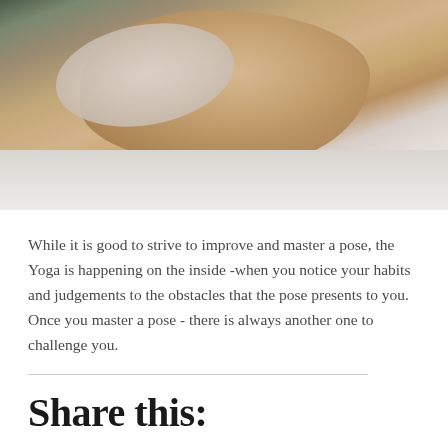[Figure (photo): A person in white athletic wear performing a yoga pose, lying curled on a white marble or stone surface, photographed from above/side angle. The figure's legs and back are visible.]
While it is good to strive to improve and master a pose, the Yoga is happening on the inside -when you notice your habits and judgements to the obstacles that the pose presents to you. Once you master a pose - there is always another one to challenge you.
Share this: